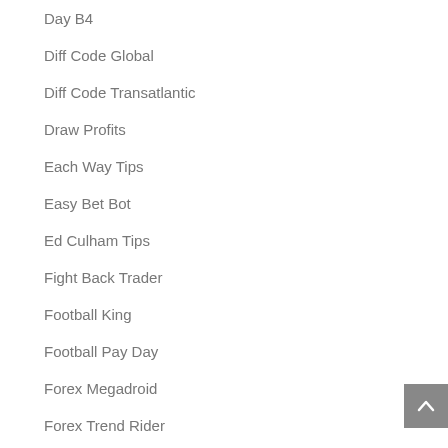Day B4
Diff Code Global
Diff Code Transatlantic
Draw Profits
Each Way Tips
Easy Bet Bot
Ed Culham Tips
Fight Back Trader
Football King
Football Pay Day
Forex Megadroid
Forex Trend Rider
Goal King
Golden Soccer Star